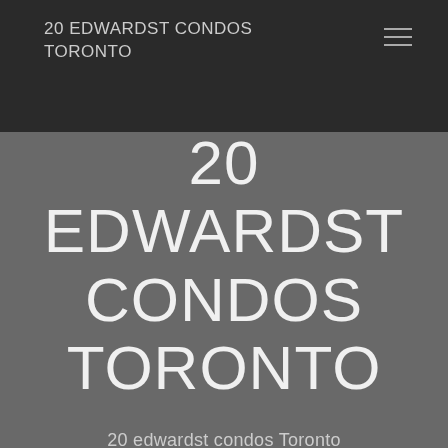20 EDWARDST CONDOS TORONTO
20 EDWARDST CONDOS TORONTO
20 edwardst condos Toronto